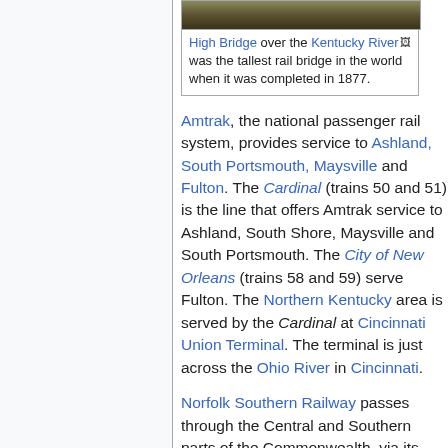[Figure (photo): Top portion of a bridge photo (High Bridge over the Kentucky River)]
High Bridge over the Kentucky River was the tallest rail bridge in the world when it was completed in 1877.
Amtrak, the national passenger rail system, provides service to Ashland, South Portsmouth, Maysville and Fulton. The Cardinal (trains 50 and 51) is the line that offers Amtrak service to Ashland, South Shore, Maysville and South Portsmouth. The City of New Orleans (trains 58 and 59) serve Fulton. The Northern Kentucky area is served by the Cardinal at Cincinnati Union Terminal. The terminal is just across the Ohio River in Cincinnati.
Norfolk Southern Railway passes through the Central and Southern parts of the Commonwealth, via its Cincinnati, New Orleans, and Texas Pacific